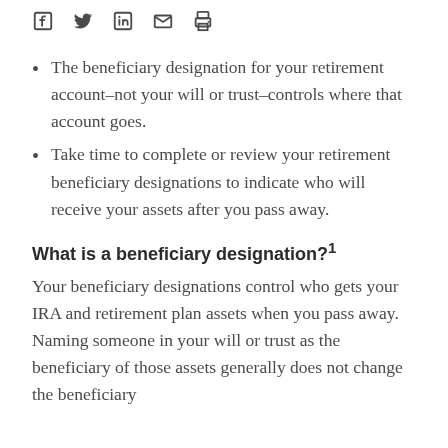[social icons: Facebook, Twitter, LinkedIn, Email, Print]
The beneficiary designation for your retirement account–not your will or trust–controls where that account goes.
Take time to complete or review your retirement beneficiary designations to indicate who will receive your assets after you pass away.
What is a beneficiary designation?1
Your beneficiary designations control who gets your IRA and retirement plan assets when you pass away. Naming someone in your will or trust as the beneficiary of those assets generally does not change the beneficiary